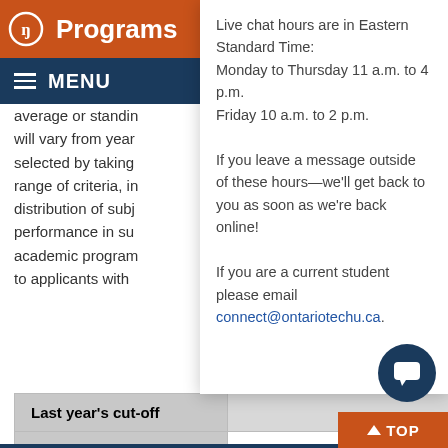Programs
average or standing will vary from year selected by taking range of criteria, in distribution of subj performance in su academic program to applicants with
Live chat hours are in Eastern Standard Time:
Monday to Thursday 11 a.m. to 4 p.m.
Friday 10 a.m. to 2 p.m.

If you leave a message outside of these hours—we'll get back to you as soon as we're back online!

If you are a current student please email connect@ontariotechu.ca.
|  |  |
| --- | --- |
| Last year's cut-off |  |
| Expected cut-off | Low-70s |